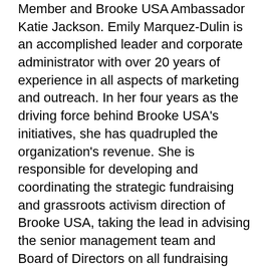Member and Brooke USA Ambassador Katie Jackson. Emily Marquez-Dulin is an accomplished leader and corporate administrator with over 20 years of experience in all aspects of marketing and outreach. In her four years as the driving force behind Brooke USA's initiatives, she has quadrupled the organization's revenue. She is responsible for developing and coordinating the strategic fundraising and grassroots activism direction of Brooke USA, taking the lead in advising the senior management team and Board of Directors on all fundraising and advocacy matters.
Brooke USA Board Member Dwayne Hildreth can best be described by those who know him best as a loyal friend, consummate